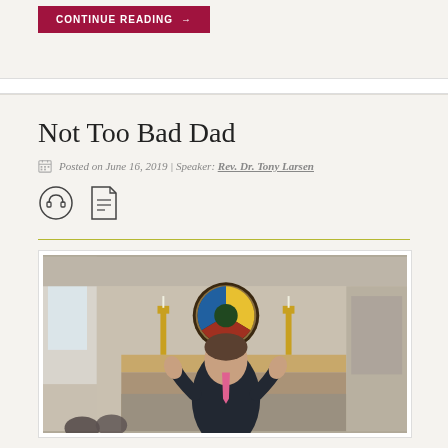CONTINUE READING →
Not Too Bad Dad
Posted on June 16, 2019 | Speaker: Rev. Dr. Tony Larsen
[Figure (photo): A man in a dark suit with a pink tie speaking at a church podium, with candles and a decorative circular religious symbol on the wall behind him]